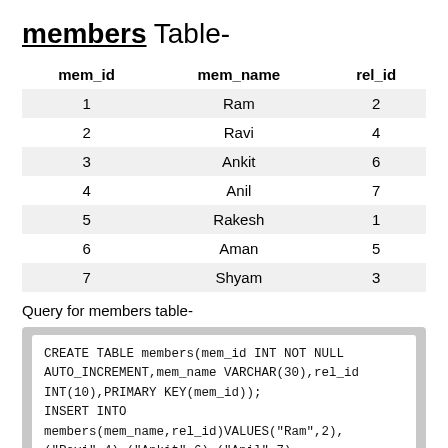members Table-
| mem_id | mem_name | rel_id |
| --- | --- | --- |
| 1 | Ram | 2 |
| 2 | Ravi | 4 |
| 3 | Ankit | 6 |
| 4 | Anil | 7 |
| 5 | Rakesh | 1 |
| 6 | Aman | 5 |
| 7 | Shyam | 3 |
Query for members table-
CREATE TABLE members(mem_id INT NOT NULL AUTO_INCREMENT,mem_name VARCHAR(30),rel_id INT(10),PRIMARY KEY(mem_id));
INSERT INTO
members(mem_name,rel_id)VALUES("Ram",2),("Ravi",4),("Ankit",6),("Anil",7),("Rakesh",1),("Aman",5),("Shyam",3);